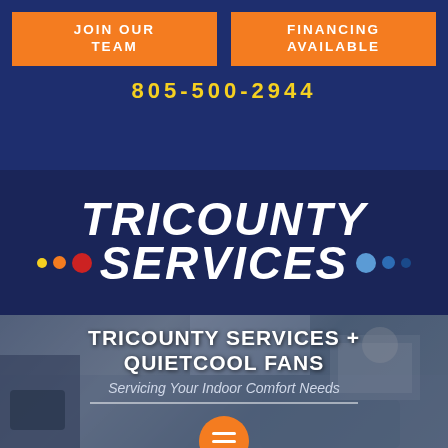JOIN OUR TEAM
FINANCING AVAILABLE
805-500-2944
TRICOUNTY SERVICES
TRICOUNTY SERVICES + QUIETCOOL FANS
Servicing Your Indoor Comfort Needs